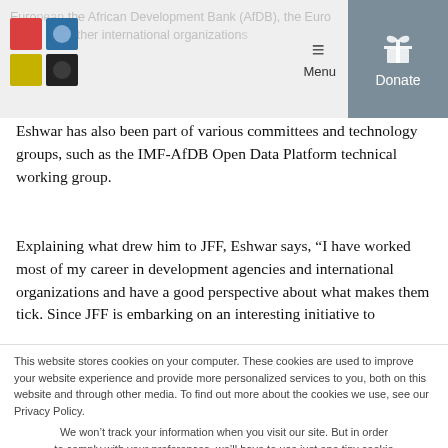JFF logo and navigation with Menu and Donate buttons
Eshwar has also been part of various committees and technology groups, such as the IMF-AfDB Open Data Platform technical working group.
Explaining what drew him to JFF, Eshwar says, “I have worked most of my career in development agencies and international organizations and have a good perspective about what makes them tick. Since JFF is embarking on an interesting initiative to
This website stores cookies on your computer. These cookies are used to improve your website experience and provide more personalized services to you, both on this website and through other media. To find out more about the cookies we use, see our Privacy Policy.
We won’t track your information when you visit our site. But in order to comply with your preferences, we’ll have to use just one tiny cookie so that you’re not asked to make this choice again.